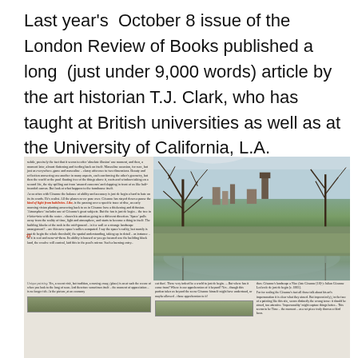Last year's October 8 issue of the London Review of Books published a long (just under 9,000 words) article by the art historian T.J. Clark, who has taught at British universities as well as at the University of California, L.A.
[Figure (photo): A scanned magazine page spread showing a landscape painting of bare winter trees reflected in flooded water with a town in the background (appears to be a Cézanne or similar work), surrounded by dense columns of critical text in small print, with a red annotation marker visible on the left column. A partial second image is visible at the bottom of the page.]